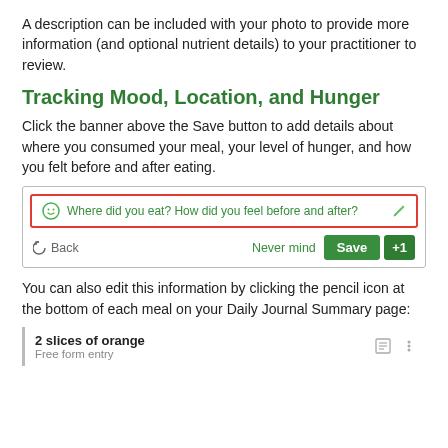A description can be included with your photo to provide more information (and optional nutrient details) to your practitioner to review.
Tracking Mood, Location, and Hunger
Click the banner above the Save button to add details about where you consumed your meal, your level of hunger, and how you felt before and after eating.
[Figure (screenshot): App screenshot showing a banner with smiley icon and text 'Where did you eat? How did you feel before and after?' outlined in red, with Back, Never mind, Save, and +1 buttons below.]
You can also edit this information by clicking the pencil icon at the bottom of each meal on your Daily Journal Summary page:
[Figure (screenshot): Partial app screenshot showing a meal card for '2 slices of orange' with subtitle 'Free form entry' and icons on the right.]